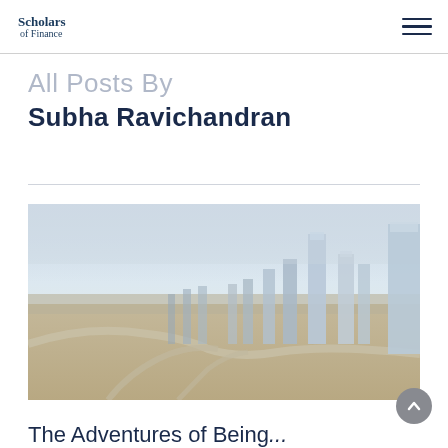Scholars of Finance
All Posts By
Subha Ravichandran
[Figure (photo): Aerial cityscape view of Dubai skyscrapers and highway interchange, taken from a high vantage point showing dense urban development with tall glass buildings and arid landscape in the background]
The Adventures of Being...